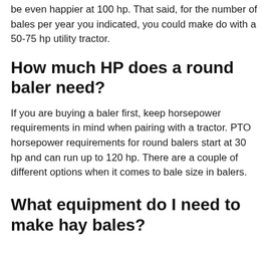be even happier at 100 hp. That said, for the number of bales per year you indicated, you could make do with a 50-75 hp utility tractor.
How much HP does a round baler need?
If you are buying a baler first, keep horsepower requirements in mind when pairing with a tractor. PTO horsepower requirements for round balers start at 30 hp and can run up to 120 hp. There are a couple of different options when it comes to bale size in balers.
What equipment do I need to make hay bales?